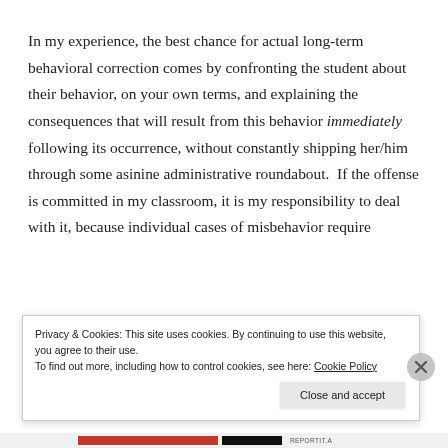In my experience, the best chance for actual long-term behavioral correction comes by confronting the student about their behavior, on your own terms, and explaining the consequences that will result from this behavior immediately following its occurrence, without constantly shipping her/him through some asinine administrative roundabout.  If the offense is committed in my classroom, it is my responsibility to deal with it, because individual cases of misbehavior require
Privacy & Cookies: This site uses cookies. By continuing to use this website, you agree to their use.
To find out more, including how to control cookies, see here: Cookie Policy